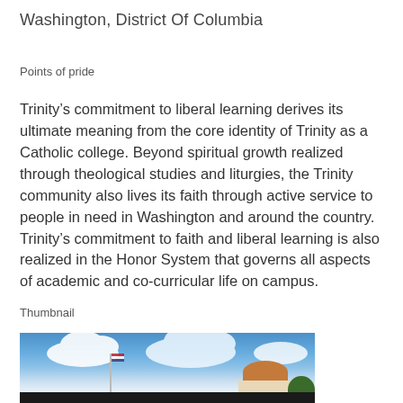Washington, District Of Columbia
Points of pride
Trinity’s commitment to liberal learning derives its ultimate meaning from the core identity of Trinity as a Catholic college. Beyond spiritual growth realized through theological studies and liturgies, the Trinity community also lives its faith through active service to people in need in Washington and around the country. Trinity’s commitment to faith and liberal learning is also realized in the Honor System that governs all aspects of academic and co-curricular life on campus.
Thumbnail
[Figure (photo): Outdoor campus photo showing a blue sky with white clouds, a flagpole with an American flag, and a building with an orange/brown dome and trees in the foreground.]